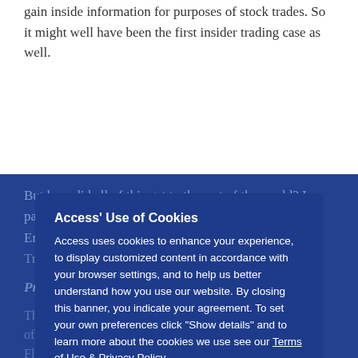couple of years, when someone tapped the line to gain inside information for purposes of stock trades. So it might well have been the first insider trading case as well.
But how did all of this get to the rest of the world? In particular, how did it get to places like Europe, where England's tradition has historically been strong. Trade secrets law is ...
Privacy...
The ... active proponents of p... a legal concept. The ... of ... Florida ... dates from 1977, the Canadian Charter of Freedoms dates from 1982 and the Privacy Act from 1983. And no very real way, those are the...
[Figure (screenshot): Cookie consent modal dialog with title 'Access' Use of Cookies', body text about cookies usage, a link to Terms of Use & Privacy Policy, an OK button with orange border, and a 'Show details' option with dropdown arrow.]